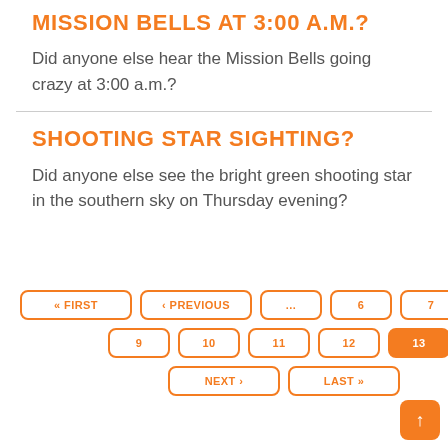MISSION BELLS AT 3:00 A.M.?
Did anyone else hear the Mission Bells going crazy at 3:00 a.m.?
SHOOTING STAR SIGHTING?
Did anyone else see the bright green shooting star in the southern sky on Thursday evening?
Pagination: « FIRST | ‹ PREVIOUS | ... | 6 | 7 | 8 | 9 | 10 | 11 | 12 | 13 (active) | 14 | NEXT › | LAST »